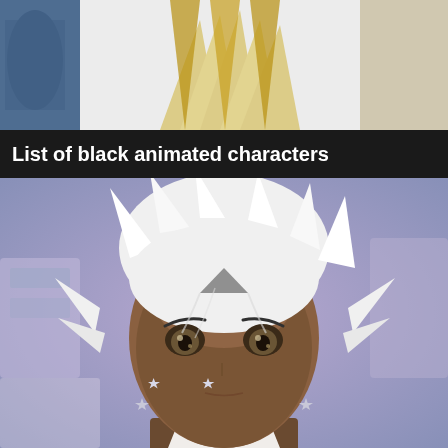[Figure (illustration): Top portion of an anime character with blue outfit and golden wing-like accessories visible at the top of the frame against a white background]
List of black animated characters
[Figure (illustration): Close-up face portrait of a dark-skinned anime character with spiky white hair, brown eyes, wearing a white outfit with star-shaped earrings, looking directly at the viewer with a serious expression. Background is blurred purple/blue tones.]